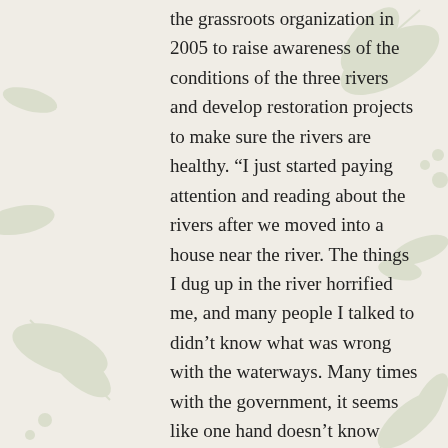the grassroots organization in 2005 to raise awareness of the conditions of the three rivers and develop restoration projects to make sure the rivers are healthy. “I just started paying attention and reading about the rivers after we moved into a house near the river. The things I dug up in the river horrified me, and many people I talked to didn’t know what was wrong with the waterways. Many times with the government, it seems like one hand doesn’t know what the other is doing. I
Read more →
Back to Top
Save Maumee Grassroots Org. wins